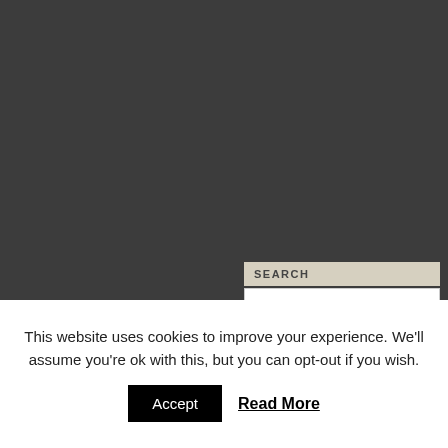[Figure (screenshot): Dark gray background area occupying the upper portion of the page, representing a website interface backdrop.]
[Figure (screenshot): Search widget in the lower-right of the dark area. Contains a beige 'SEARCH' label bar and a white search box showing 'ENHANCED BY Google'.]
This website uses cookies to improve your experience. We'll assume you're ok with this, but you can opt-out if you wish.
Accept
Read More